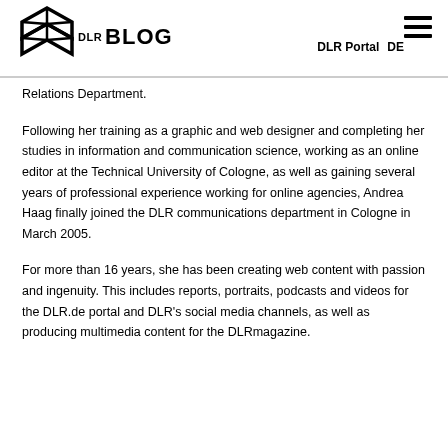[Figure (logo): DLR Blog logo with arrow/star shaped emblem and text 'DLR BLOG']
DLR Portal  DE
Relations Department.
Following her training as a graphic and web designer and completing her studies in information and communication science, working as an online editor at the Technical University of Cologne, as well as gaining several years of professional experience working for online agencies, Andrea Haag finally joined the DLR communications department in Cologne in March 2005.
For more than 16 years, she has been creating web content with passion and ingenuity. This includes reports, portraits, podcasts and videos for the DLR.de portal and DLR's social media channels, as well as producing multimedia content for the DLRmagazine.